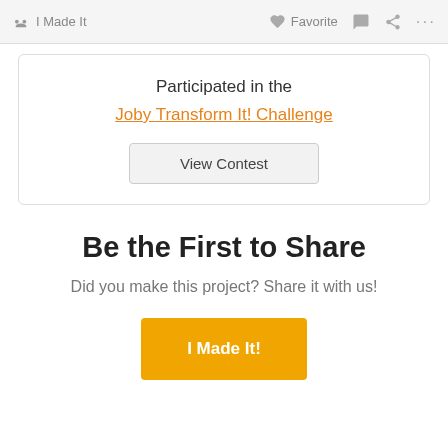I Made It  Favorite  ...
Participated in the
Joby Transform It! Challenge
View Contest
Be the First to Share
Did you make this project? Share it with us!
I Made It!